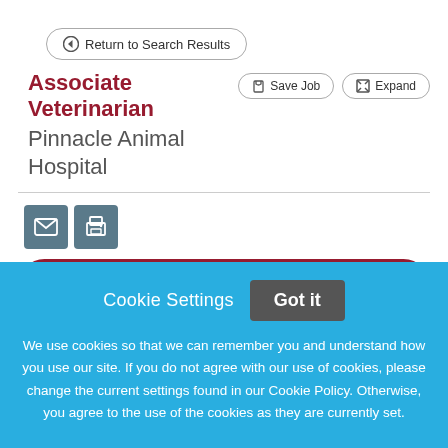Return to Search Results
Associate Veterinarian
Pinnacle Animal Hospital
[Figure (other): Email and print icon buttons]
APPLY NOW
Cookie Settings
Got it
We use cookies so that we can remember you and understand how you use our site. If you do not agree with our use of cookies, please change the current settings found in our Cookie Policy. Otherwise, you agree to the use of the cookies as they are currently set.